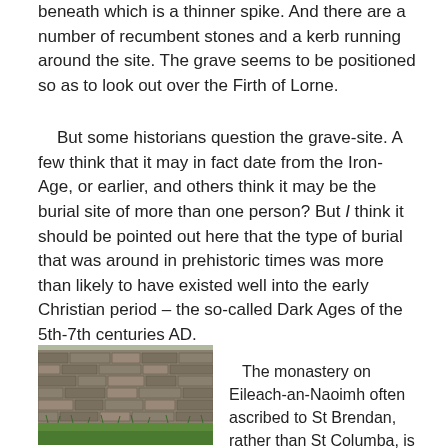beneath which is a thinner spike. And there are a number of recumbent stones and a kerb running around the site. The grave seems to be positioned so as to look out over the Firth of Lorne.
But some historians question the grave-site. A few think that it may in fact date from the Iron-Age, or earlier, and others think it may be the burial site of more than one person? But I think it should be pointed out here that the type of burial that was around in prehistoric times was more than likely to have existed well into the early Christian period – the so-called Dark Ages of the 5th-7th centuries AD.
[Figure (photo): Photograph of ancient drystone wall ruins on Eileach-an-Naoimh, showing low stone masonry with grass in foreground]
The monastery on Eileach-an-Naoimh often ascribed to St Brendan, rather than St Columba, is a ruin consisting of low drystone walls with a